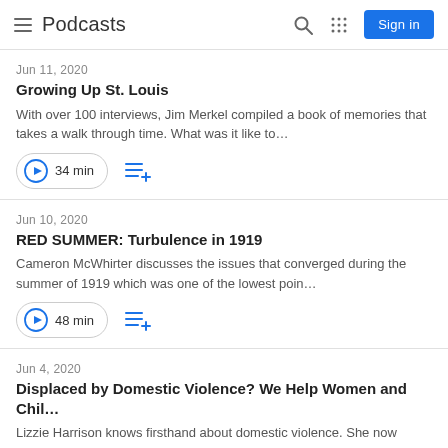Podcasts
Jun 11, 2020
Growing Up St. Louis
With over 100 interviews, Jim Merkel compiled a book of memories that takes a walk through time. What was it like to…
34 min
Jun 10, 2020
RED SUMMER: Turbulence in 1919
Cameron McWhirter discusses the issues that converged during the summer of 1919 which was one of the lowest poin…
48 min
Jun 4, 2020
Displaced by Domestic Violence? We Help Women and Chil…
Lizzie Harrison knows firsthand about domestic violence. She now assists others who struggle in the grip of this abuse.